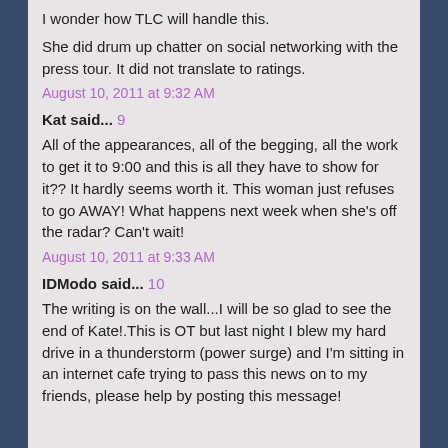I wonder how TLC will handle this.
She did drum up chatter on social networking with the press tour. It did not translate to ratings.
August 10, 2011 at 9:32 AM
Kat said... 9
All of the appearances, all of the begging, all the work to get it to 9:00 and this is all they have to show for it?? It hardly seems worth it. This woman just refuses to go AWAY! What happens next week when she's off the radar? Can't wait!
August 10, 2011 at 9:33 AM
IDModo said... 10
The writing is on the wall...I will be so glad to see the end of Kate!.This is OT but last night I blew my hard drive in a thunderstorm (power surge) and I'm sitting in an internet cafe trying to pass this news on to my friends, please help by posting this message!